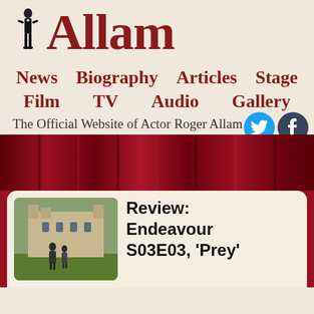[Figure (logo): Roger Allam official website logo with small figure in tuxedo and large text 'Allam' in dark red serif font]
News   Biography   Articles   Stage
Film   TV   Audio   Gallery
The Official Website of Actor Roger Allam
[Figure (illustration): Twitter and Tumblr social media circular icon buttons]
[Figure (photo): Dark red theatre curtain background banner]
[Figure (photo): Two men in suits standing outside a castle building]
Review: Endeavour S03E03, 'Prey'